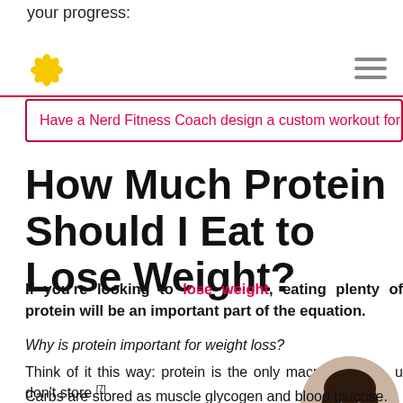your progress:
[Figure (logo): Nerd Fitness yellow flower/star logo and hamburger menu icon]
Have a Nerd Fitness Coach design a custom workout for y…
How Much Protein Should I Eat to Lose Weight?
If you're looking to lose weight, eating plenty of protein will be an important part of the equation.
Why is protein important for weight loss?
Think of it this way: protein is the only macronutrient you don't store.[7]
Carbs are stored as muscle glycogen and blood glucose.